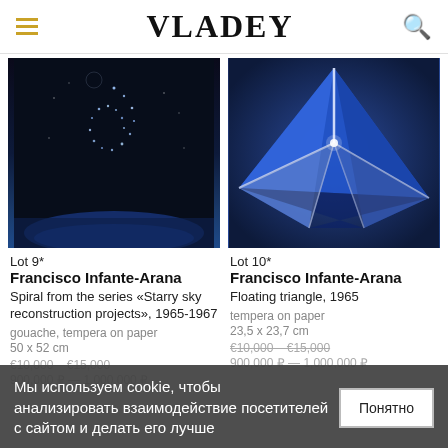VLADEY
[Figure (photo): Dark painting showing a spiral of dots/stars against a night sky with blue glowing elements at the bottom]
[Figure (photo): Geometric painting of a floating triangular star shape in blue and white against dark blue background]
Lot 9*
Francisco Infante-Arana
Spiral from the series «Starry sky reconstruction projects», 1965-1967
gouache, tempera on paper
50 x 52 cm
€10,000 – €15,000
900,000 ₽ — 1,000,000 ₽
Lot 10*
Francisco Infante-Arana
Floating triangle, 1965
tempera on paper
23,5 x 23,7 cm
€10,000 – €15,000
900,000 ₽ — 1,000,000 ₽
Мы используем cookie, чтобы анализировать взаимодействие посетителей с сайтом и делать его лучше
Понятно